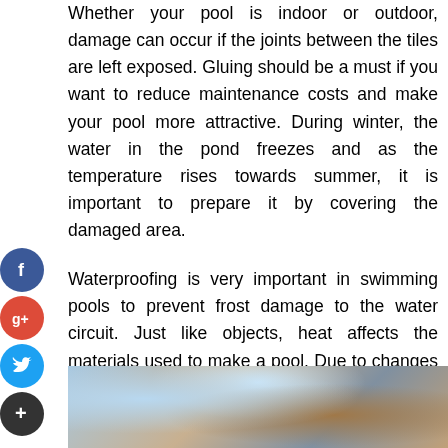Whether your pool is indoor or outdoor, damage can occur if the joints between the tiles are left exposed. Gluing should be a must if you want to reduce maintenance costs and make your pool more attractive. During winter, the water in the pond freezes and as the temperature rises towards summer, it is important to prepare it by covering the damaged area.

Waterproofing is very important in swimming pools to prevent frost damage to the water circuit. Just like objects, heat affects the materials used to make a pool. Due to changes in temperature, the water in the pool becomes hot and sometimes cold. You can also hire #1 caulking contractor in Melbourne to caulk your swimming pool professionally.
[Figure (photo): Photo showing hands caulking the edge of a swimming pool tile, with blue water and stone/tile visible]